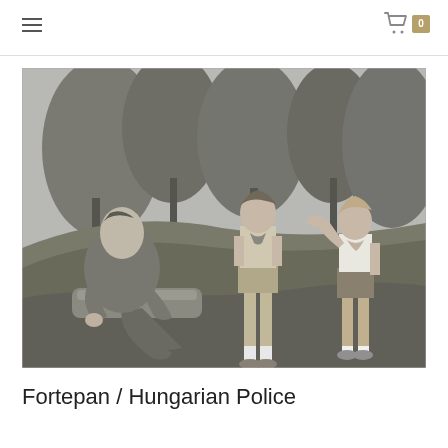Navigation header with hamburger menu and shopping cart with 0 items
[Figure (photo): Black and white photograph of a man sitting on a stone or log outdoors, talking to two young boys standing in front of him on a grassy hill with trees in background. The boys are wearing shorts and neckerchiefs. One boy is saluting.]
Fortepan / Hungarian Police